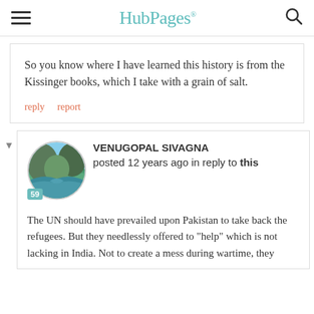HubPages
So you know where I have learned this history is from the Kissinger books, which I take with a grain of salt.
reply   report
VENUGOPAL SIVAGNA posted 12 years ago in reply to this
The UN should have prevailed upon Pakistan to take back the refugees. But they needlessly offered to "help" which is not lacking in India.  Not to create a mess during wartime, they